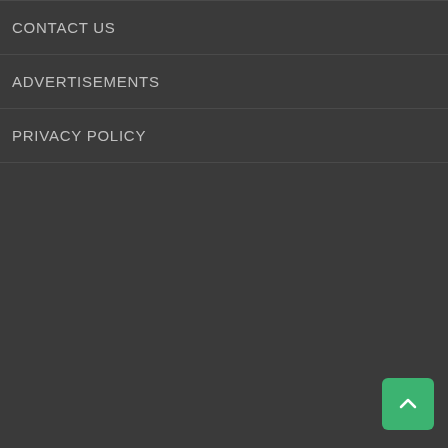CONTACT US
ADVERTISEMENTS
PRIVACY POLICY